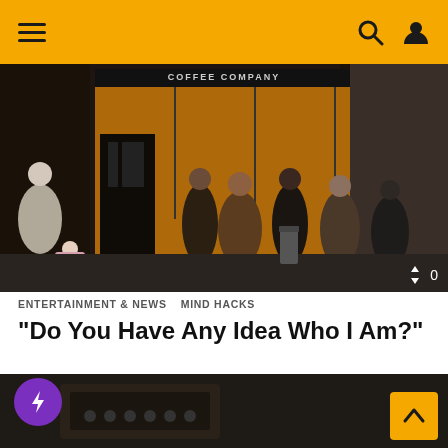Navigation bar with hamburger menu, search, and profile icons
[Figure (photo): Street scene outside a coffee company shop with people queuing outside, dark storefront with golden interior lighting, sign reading COFFEE COMPANY, number 27 visible, sort icon overlay with 0 count]
ENTERTAINMENT & NEWS   MIND HACKS
“Do You Have Any Idea Who I Am?”
[Figure (photo): Dark close-up photo showing what appears to be a dark textured object, with a purple lightning bolt badge overlaid at top left and a yellow scroll-to-top arrow button at bottom right]